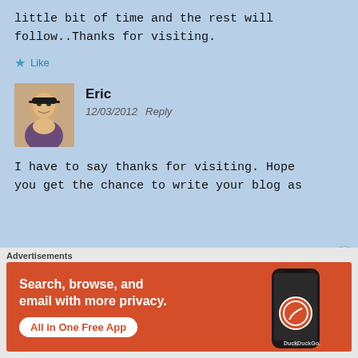little bit of time and the rest will follow..Thanks for visiting.
Like
Eric
12/03/2012  Reply
I have to say thanks for visiting. Hope you get the chance to write your blog as
Advertisements
Search, browse, and email with more privacy.
All in One Free App
DuckDuckGo.